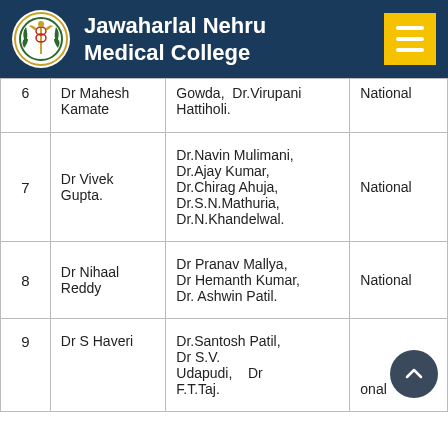Jawaharlal Nehru Medical College
| # | Guide | Speakers | Level |
| --- | --- | --- | --- |
| 6 | Dr Mahesh Kamate | Gowda, Dr Prashanth Hattiholi. Dr Virupani | National |
| 7 | Dr Vivek Gupta. | Dr.Navin Mulimani, Dr.Ajay Kumar, Dr.Chirag Ahuja, Dr.S.N.Mathuria, Dr.N.Khandelwal. | National |
| 8 | Dr Nihaal Reddy | Dr Pranav Mallya, Dr Hemanth Kumar, Dr. Ashwin Patil. | National |
| 9 | Dr S Haveri | Dr.Santosh Patil, Dr S.V. Udapudi, Dr F.T.Taj. | National |